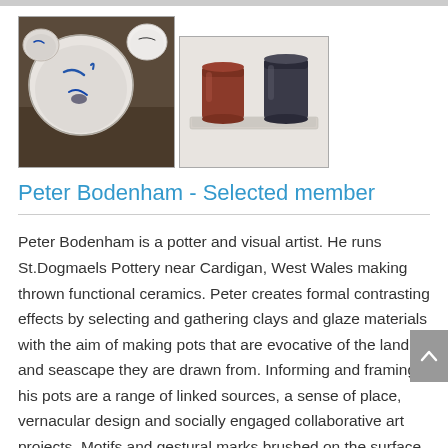[Figure (photo): Two ceramic bowls with blue markings on a dark wooden surface]
[Figure (photo): Two ceramic cups on a rectangular ceramic tray, one brownish-red and one dark grey]
Peter Bodenham - Selected member
Peter Bodenham is a potter and visual artist. He runs St.Dogmaels Pottery near Cardigan, West Wales making thrown functional ceramics. Peter creates formal contrasting effects by selecting and gathering clays and glaze materials with the aim of making pots that are evocative of the land and seascape they are drawn from. Informing and framing his pots are a range of linked sources, a sense of place, vernacular design and socially engaged collaborative art projects. Motifs and gestural marks brushed on the surface of the pots can be seen as direct traces of his phenomenological experience of